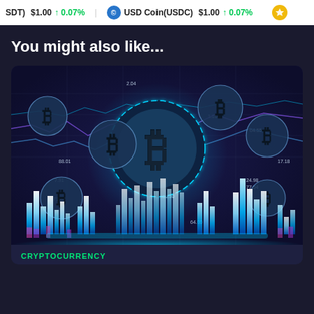(SDT) $1.00 ↑ 0.07%   USD Coin(USDC) $1.00 ↑ 0.07%
You might also like...
[Figure (illustration): Cryptocurrency themed illustration showing multiple Bitcoin (BTC) coin icons of varying sizes arranged across a dark purple/navy background with line charts, bar charts in cyan/blue tones, and glowing effects. A large central Bitcoin coin with dashed circle halo is prominent, surrounded by smaller BTC coins. Stylized bar chart columns in light blue and white glow at the bottom.]
CRYPTOCURRENCY